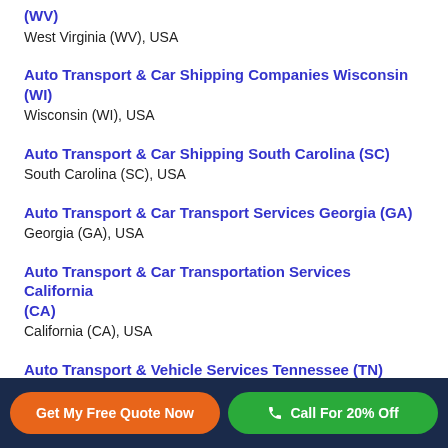(WV)
West Virginia (WV), USA
Auto Transport & Car Shipping Companies Wisconsin (WI)
Wisconsin (WI), USA
Auto Transport & Car Shipping South Carolina (SC)
South Carolina (SC), USA
Auto Transport & Car Transport Services Georgia (GA)
Georgia (GA), USA
Auto Transport & Car Transportation Services California (CA)
California (CA), USA
Auto Transport & Vehicle Services Tennessee (TN)
Tennessee (TN), USA
Auto Transport Companies Massachusetts (MA)
Get My Free Quote Now
Call For 20% Off